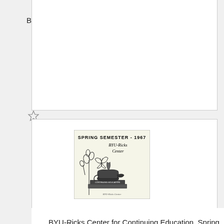BYU-Ricks Center for Continuing Education, Spring Semester, 1966
[Figure (illustration): Cover of Spring Semester 1967 BYU-Ricks Center booklet, showing an oil lamp with flame, books, and floral decorations. Text reads SPRING SEMESTER - 1967 and BYU-Ricks Center in handwritten script.]
BYU-Ricks Center for Continuing Education, Spring Semester, 1967
[Figure (logo): BYU-Ricks Center logo with oval/ellipse border and handwritten-style Center text below.]